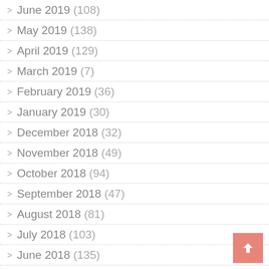June 2019 (108)
May 2019 (138)
April 2019 (129)
March 2019 (7)
February 2019 (36)
January 2019 (30)
December 2018 (32)
November 2018 (49)
October 2018 (94)
September 2018 (47)
August 2018 (81)
July 2018 (103)
June 2018 (135)